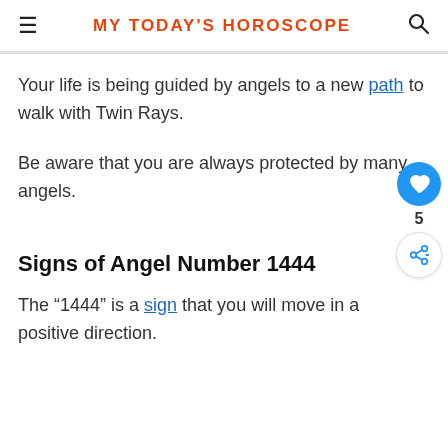MY TODAY'S HOROSCOPE
Your life is being guided by angels to a new path to walk with Twin Rays.
Be aware that you are always protected by many angels.
Signs of Angel Number 1444
The “1444” is a sign that you will move in a positive direction.
Many angels are sending you signs that you